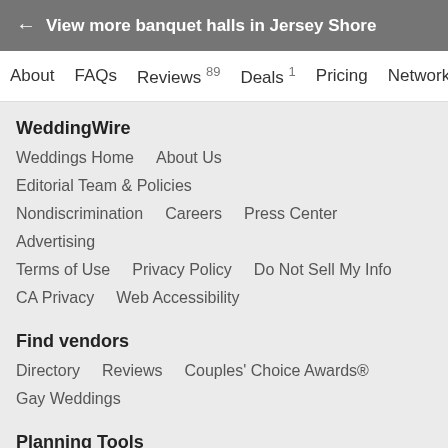← View more banquet halls in Jersey Shore
About   FAQs   Reviews 89   Deals 1   Pricing   Network
WeddingWire
Weddings Home
About Us
Editorial Team & Policies
Nondiscrimination
Careers
Press Center
Advertising
Terms of Use
Privacy Policy
Do Not Sell My Info
CA Privacy
Web Accessibility
Find vendors
Directory
Reviews
Couples' Choice Awards®
Gay Weddings
Planning Tools
Wedding Website
Wedding Invitations
Checklist
Guest List
Budget
Vendor Manager
Seating Chart
Hotel Blocks